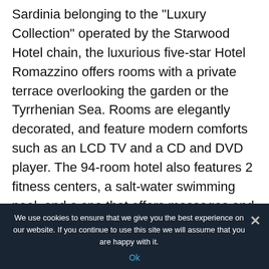Sardinia belonging to the "Luxury Collection" operated by the Starwood Hotel chain, the luxurious five-star Hotel Romazzino offers rooms with a private terrace overlooking the garden or the Tyrrhenian Sea. Rooms are elegantly decorated, and feature modern comforts such as an LCD TV and a CD and DVD player. The 94-room hotel also features 2 fitness centers, a salt-water swimming pool, and a spa that offers massages and other wellness treatments. The Romazzino
We use cookies to ensure that we give you the best experience on our website. If you continue to use this site we will assume that you are happy with it. Ok